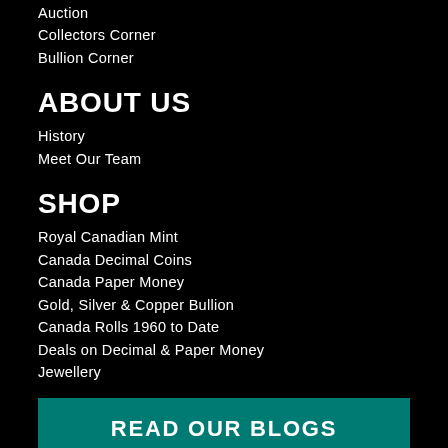Auction
Collectors Corner
Bullion Corner
ABOUT US
History
Meet Our Team
SHOP
Royal Canadian Mint
Canada Decimal Coins
Canada Paper Money
Gold, Silver & Copper Bullion
Canada Rolls 1960 to Date
Deals on Decimal & Paper Money
Jewellery
READ OUR BLOGS
STORE HOURS